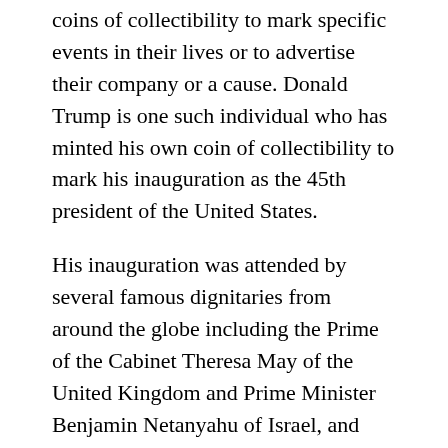coins of collectibility to mark specific events in their lives or to advertise their company or a cause. Donald Trump is one such individual who has minted his own coin of collectibility to mark his inauguration as the 45th president of the United States.
His inauguration was attended by several famous dignitaries from around the globe including the Prime of the Cabinet Theresa May of the United Kingdom and Prime Minister Benjamin Netanyahu of Israel, and Prime of the Cabinet Justin Trudeau of Canada among other dignitaries.